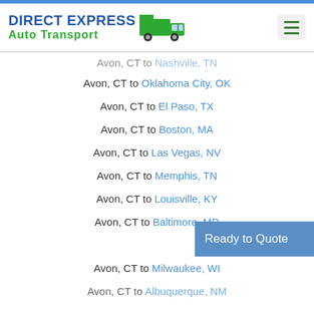Direct Express Auto Transport
Avon, CT to Nashville, TN
Avon, CT to Oklahoma City, OK
Avon, CT to El Paso, TX
Avon, CT to Boston, MA
Avon, CT to Las Vegas, NV
Avon, CT to Memphis, TN
Avon, CT to Louisville, KY
Avon, CT to Baltimore, MD
Avon, CT to Milwaukee, WI
Avon, CT to Albuquerque, NM